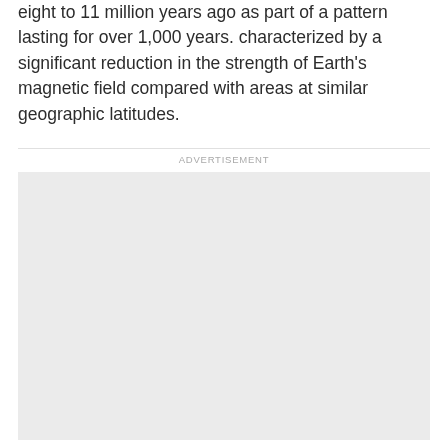eight to 11 million years ago as part of a pattern lasting for over 1,000 years. characterized by a significant reduction in the strength of Earth's magnetic field compared with areas at similar geographic latitudes.
[Figure (other): Advertisement placeholder — large light grey rectangle]